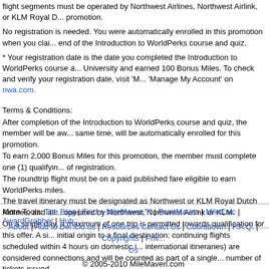flight segments must be operated by Northwest Airlines, Northwest Airlink, or KLM Royal D... promotion.
No registration is needed. You were automatically enrolled in this promotion when you clai... end of the Introduction to WorldPerks course and quiz.
* Your registration date is the date you completed the Introduction to WorldPerks course a... University and earned 100 Bonus Miles. To check and verify your registration date, visit 'M... 'Manage My Account' on nwa.com.
Terms & Conditions:
After completion of the Introduction to WorldPerks course and quiz, the member will be aw... same time, will be automatically enrolled for this promotion.
To earn 2,000 Bonus Miles for this promotion, the member must complete one (1) qualifyin... of registration.
The roundtrip flight must be on a paid published fare eligible to earn WorldPerks miles.
The travel itinerary must be designated as Northwest or KLM Royal Dutch Airlines, and all... operated by Northwest, Northwest Airlink or KLM.
On a single day, a maximum of one trip is permitted towards qualification for this offer. A si... initial origin to a final destination; continuing flights scheduled within 4 hours on domestic i... international itineraries) are considered connections and will be counted as part of a single... number of tickets issued.
The member must claim WorldPerks mileage for the flight.
Please allow 6 to 8 weeks after the qualifying activity for the Bonus Miles to credit your ac... Bonus Miles qualify as banked miles, not Elite Qualifying Miles.
This offer cannot be combined with another flight Bonus Miles offer.
Northwest is the final authority on the interpretation of these rules.
More Tools: The Blog | Find a MileMaven™ | PointMaven | MileCalc | AwardGrabber | Hub...
About | Add to Del.icio.us | Resources Contact Us | Countdown | F.A.Q. | Copyrights | Priv... Us
© 2005-2010 MileMaven.com